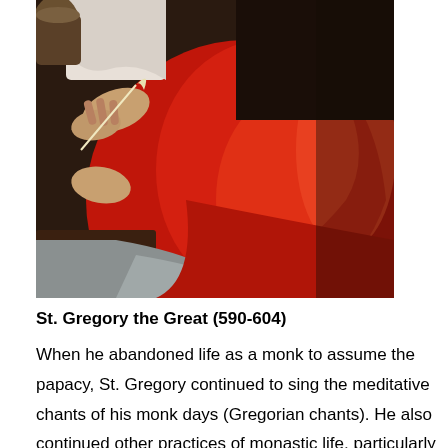[Figure (photo): A painting depicting a figure in a flowing red robe, seated, holding a quill pen. The figure appears to be writing or about to write. The painting style is classical, with dark background tones contrasting with the vivid red of the garment.]
St. Gregory the Great (590-604)
When he abandoned life as a monk to assume the papacy, St. Gregory continued to sing the meditative chants of his monk days (Gregorian chants). He also continued other practices of monastic life, particularly writing. In his book "Pastoral Care," which became a sixth century how-to manual for